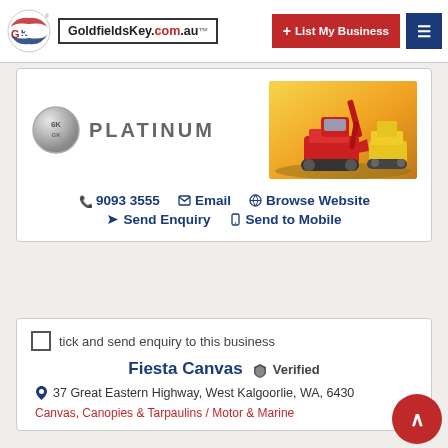GoldfieldsKey.com.au — List My Business — Menu
[Figure (logo): GoldfieldsKey.com.au website header with GK logo, site name, List My Business red button, and hamburger menu]
[Figure (illustration): Platinum membership badge with GK logo and PLATINUM text]
[Figure (photo): Two excavators/construction machinery on yellow-orange background]
9093 3555   Email   Browse Website   Send Enquiry   Send to Mobile
tick and send enquiry to this business
Fiesta Canvas  Verified
37 Great Eastern Highway, West Kalgoorlie, WA, 6430
Canvas, Canopies & Tarpaulins / Motor & Marine